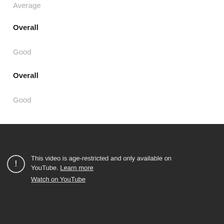Average
Overall
Good
Overall
Good
[Figure (screenshot): Dark-background video player showing age-restriction message with exclamation icon, text 'This video is age-restricted and only available on YouTube. Learn more', and a 'Watch on YouTube' link.]